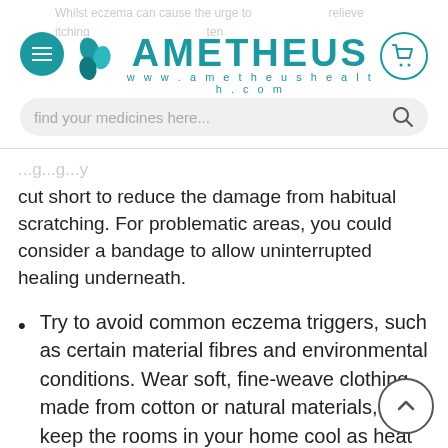Ametheus Health - www.ametheushealth.com
cut short to reduce the damage from habitual scratching. For problematic areas, you could consider a bandage to allow uninterrupted healing underneath.
Try to avoid common eczema triggers, such as certain material fibres and environmental conditions. Wear soft, fine-weave clothing made from cotton or natural materials, and keep the rooms in your home cool as heat can aggravate eczema.
Use specialist soaps such as the Aveeno Dermexa Body Wash or Dermol 500 that are